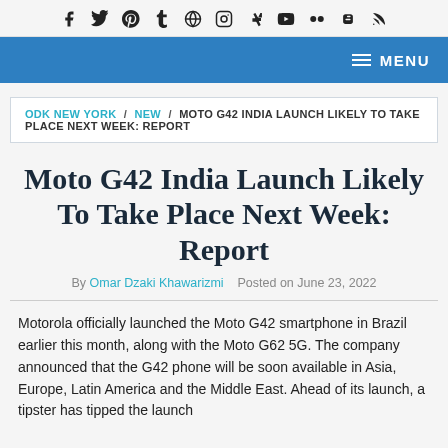Social media icons row: Facebook, Twitter, Pinterest, Tumblr, WordPress, Instagram, DeviantArt, YouTube, Flickr, Blogger, RSS
MENU navigation bar
ODK NEW YORK / NEW / MOTO G42 INDIA LAUNCH LIKELY TO TAKE PLACE NEXT WEEK: REPORT
Moto G42 India Launch Likely To Take Place Next Week: Report
By Omar Dzaki Khawarizmi   Posted on June 23, 2022
Motorola officially launched the Moto G42 smartphone in Brazil earlier this month, along with the Moto G62 5G. The company announced that the G42 phone will be soon available in Asia, Europe, Latin America and the Middle East. Ahead of its launch, a tipster has tipped the launch